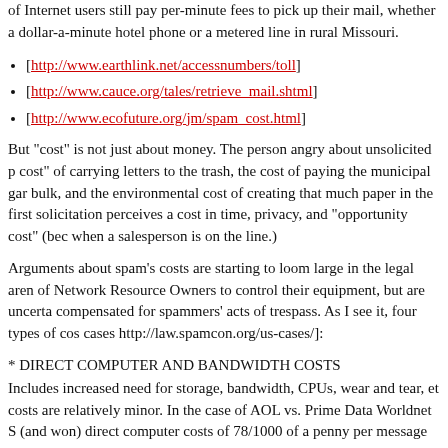of Internet users still pay per-minute fees to pick up their mail, whether a dollar-a-minute hotel phone or a metered line in rural Missouri.
[http://www.earthlink.net/accessnumbers/toll]
[http://www.cauce.org/tales/retrieve_mail.shtml]
[http://www.ecofuture.org/jm/spam_cost.html]
But "cost" is not just about money. The person angry about unsolicited p cost" of carrying letters to the trash, the cost of paying the municipal gar bulk, and the environmental cost of creating that much paper in the first solicitation perceives a cost in time, privacy, and "opportunity cost" (bec when a salesperson is on the line.)
Arguments about spam's costs are starting to loom large in the legal aren of Network Resource Owners to control their equipment, but are uncerta compensated for spammers' acts of trespass. As I see it, four types of cos cases http://law.spamcon.org/us-cases/]:
* DIRECT COMPUTER AND BANDWIDTH COSTS
Includes increased need for storage, bandwidth, CPUs, wear and tear, et costs are relatively minor. In the case of AOL vs. Prime Data Worldnet S (and won) direct computer costs of 78/1000 of a penny per message [http://legal.web.aol.com/decisions/dljunk/primereport.html].
* DIRECT NON-COMPUTER COSTS
Server-room space, cooling, electricity -- and the biggie, personnel to ha and the inevitable complaints from customers. A 1999 study found that c